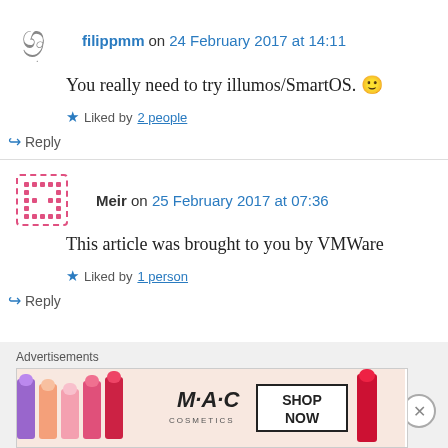filippmm on 24 February 2017 at 14:11
You really need to try illumos/SmartOS. 🙂
Liked by 2 people
↳ Reply
Meir on 25 February 2017 at 07:36
This article was brought to you by VMWare
Liked by 1 person
↳ Reply
Advertisements
[Figure (photo): MAC cosmetics advertisement banner with lipsticks and SHOP NOW text]